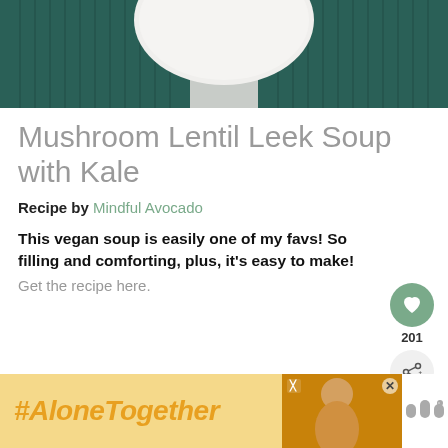[Figure (photo): Top portion of a bowl of soup, with teal/dark green knit sweater sleeves visible on either side, white bowl center]
Mushroom Lentil Leek Soup with Kale
Recipe by Mindful Avocado
This vegan soup is easily one of my favs! So filling and comforting, plus, it's easy to make!
Get the recipe here.
[Figure (infographic): #AloneTogether advertisement banner with woman eating, close X button, and Walmart logo]